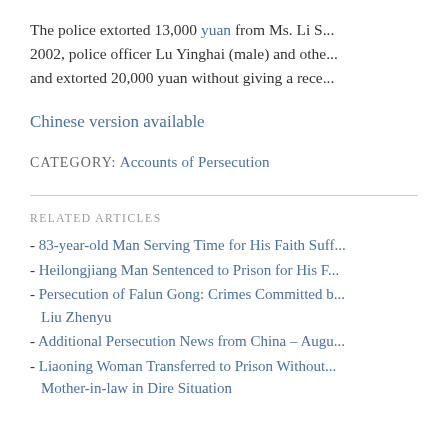The police extorted 13,000 yuan from Ms. Li S... 2002, police officer Lu Yinghai (male) and othe... and extorted 20,000 yuan without giving a rece...
Chinese version available
CATEGORY: Accounts of Persecution
RELATED ARTICLES
- 83-year-old Man Serving Time for His Faith Suff...
- Heilongjiang Man Sentenced to Prison for His F...
- Persecution of Falun Gong: Crimes Committed b... Liu Zhenyu
- Additional Persecution News from China – Augu...
- Liaoning Woman Transferred to Prison Without... Mother-in-law in Dire Situation